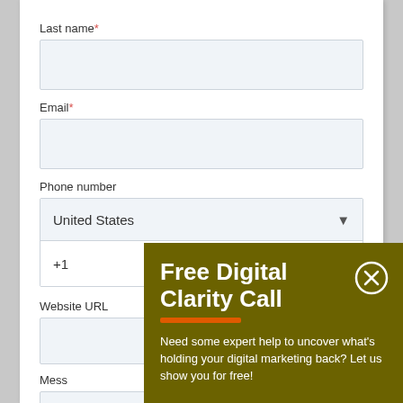Last name*
Email*
Phone number
United States +1
Website URL
Mess
[Figure (screenshot): Popup overlay with title 'Free Digital Clarity Call', orange underline bar, close X button, and body text 'Need some expert help to uncover what's holding your digital marketing back? Let us show you for free!']